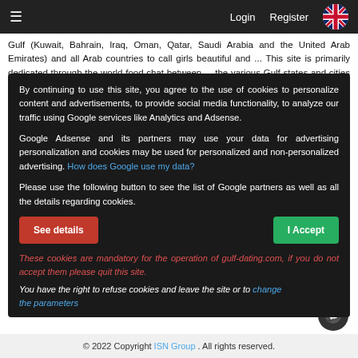≡  Login  Register
Gulf (Kuwait, Bahrain, Iraq, Oman, Qatar, Saudi Arabia and the United Arab Emirates) and all Arab countries to call girls beautiful and ... This site is primarily dedicated through the world food chat between ... the various Gulf states and cities such as Riyadh, Jeddah, Dammam, Oman, Kuwait, Dubai, Doha, Al Khobar, Manama, Sharjah and others join us now and do not waits. As characterized by the Arabian gulf the sea form the equilbity of the Gulf of the Arabian ... Are Arabian Seas. How? an estimated distance of 990 kilometers overcome the formation of the bottom with deep channels (deep) where the maximum depth is estimated somewhere at 90 meters under very strong currents, during tide the water covers large tracts of land. The best ... in the Gulf Arab region close ... city of Jubail this region has a unique ecosystem on the form of a group of islands of coral reefs, and coral considers this to be a mystery battled scientist.
By continuing to use this site, you agree to the use of cookies to personalize content and advertisements, to provide social media functionality, to analyze our traffic using Google services like Analytics and Adsense.
Google Adsense and its partners may use your data for advertising personalization and cookies may be used for personalized and non-personalized advertising. How does Google use my data?
Please use the following button to see the list of Google partners as well as all the details regarding cookies.
See details   I Accept
These cookies are mandatory for the operation of gulf-dating.com, if you do not accept them please quit this site.
You have the right to refuse cookies and leave the site or to change the parameters
© 2022 Copyright ISN Group. All rights reserved.